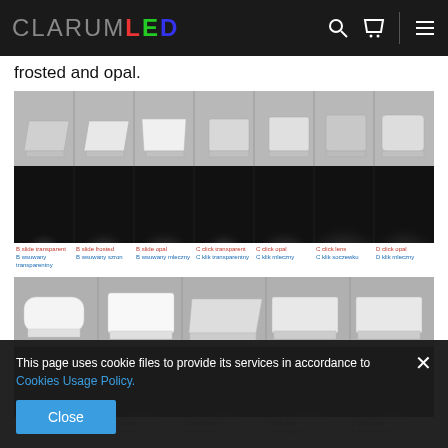CLARUM LED
frosted and opal.
[Figure (photo): Seven LED channel/profile cover types shown in two rows: top row shows the physical profile covers (slide transparent, slide frosted, slide opal, click transparent, click opal, click lens, click opal), bottom row shows the light beam output patterns on black background for each type.]
B slide transparent / B wsuwany transparentny | B slide frosted / B wsuwany szron | B slide opal / B wsuwany mleczny | C click transparent / C klik transparentny | C click opal / C klik mleczny | C click lens / C klik soczewku | D click opal / D klik mleczny
[Figure (photo): Five LED channel/profile cover types shown in two rows: top row shows physical profile covers, bottom row shows light output on black background. Labels: C1 click opal, E7 click opal, I click frosted, I click opal, K click opal.]
C1 click opal / C1 klik mleczny | E7 click opal / E7 klik mleczny | I click frosted / I klik szron | I click opal / I klik mleczny | K click opal / K klik mleczny
This page uses cookie files to provide its services in accordance to Cookies Usage Policy.